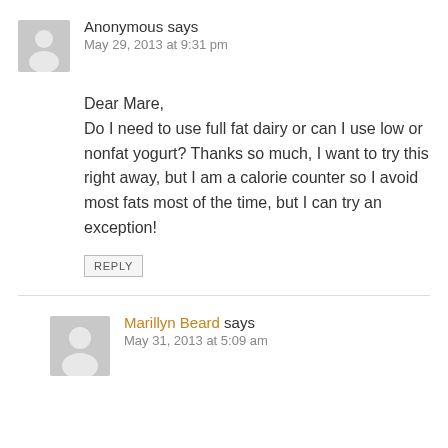Anonymous says
May 29, 2013 at 9:31 pm
Dear Mare,
Do I need to use full fat dairy or can I use low or nonfat yogurt? Thanks so much, I want to try this right away, but I am a calorie counter so I avoid most fats most of the time, but I can try an exception!
REPLY
Marillyn Beard says
May 31, 2013 at 5:09 am